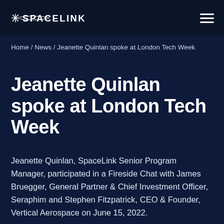[Figure (logo): SpaceLink company logo with star/asterisk icon and SPACELINK wordmark in white on dark navy background]
Home / News / Jeanette Quinlan spoke at London Tech Week
Jeanette Quinlan spoke at London Tech Week
Jeanette Quinlan, SpaceLink Senior Program Manager, participated in a Fireside Chat with James Bruegger, General Partner & Chief Investment Officer, Seraphim and Stephen Fitzpatrick, CEO & Founder, Vertical Aerospace on June 15, 2022.